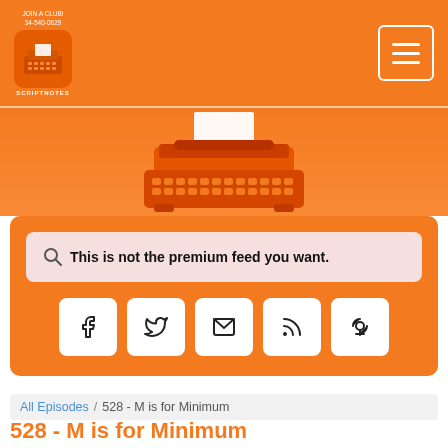SCRIPTNOTES
[Figure (illustration): Orange typewriter illustration centered on orange gradient background]
🔍 This is not the premium feed you want.
[Figure (infographic): Social share buttons: Facebook, Twitter, Email, RSS, Podcast]
All Episodes / 528 - M is for Minimum
528 - M is for Minimum